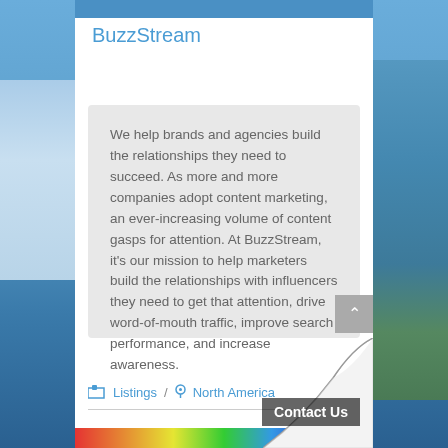BuzzStream
We help brands and agencies build the relationships they need to succeed. As more and more companies adopt content marketing, an ever-increasing volume of content gasps for attention. At BuzzStream, it's our mission to help marketers build the relationships with influencers they need to get that attention, drive word-of-mouth traffic, improve search performance, and increase awareness.
Listings / North America
Contact Us